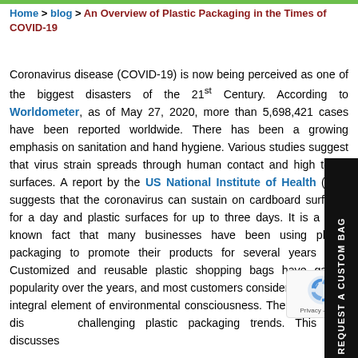Home > blog > An Overview of Plastic Packaging in the Times of COVID-19
Coronavirus disease (COVID-19) is now being perceived as one of the biggest disasters of the 21st Century. According to Worldometer, as of May 27, 2020, more than 5,698,421 cases have been reported worldwide. There has been a growing emphasis on sanitation and hand hygiene. Various studies suggest that virus strain spreads through human contact and high touch surfaces. A report by the US National Institute of Health (NIH) suggests that the coronavirus can sustain on cardboard surfaces for a day and plastic surfaces for up to three days. It is a well-known fact that many businesses have been using plastic packaging to promote their products for several years now. Customized and reusable plastic shopping bags have gained popularity over the years, and most customers consider them as an integral element of environmental consciousness. The coronavirus disease is challenging plastic packaging trends. This post discusses